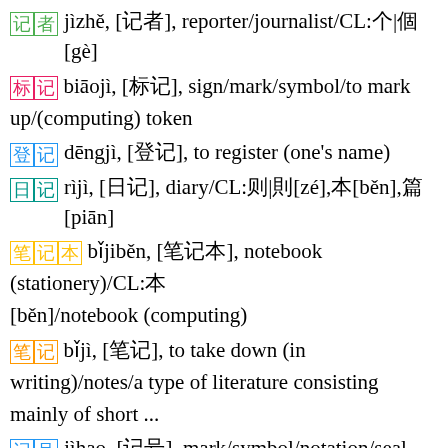记者 jìzhě, [记者], reporter/journalist/CL:个|個[gè]
标记 biāojì, [標記], sign/mark/symbol/to mark up/(computing) token
登记 dēngjì, [登記], to register (one's name)
日记 rìjì, [日記], diary/CL:则|則[zé],本[běn],篇[piān]
笔记本 bǐjiběn, [筆記本], notebook (stationery)/CL:本[běn]/notebook (computing)
笔记 bǐjì, [筆記], to take down (in writing)/notes/a type of literature consisting mainly of short ...
记号 jìhao, [記號], mark/symbol/notation/seal
记载 jìzǎi, [記載], to write down/to record/written account
印记 yìnjì, [印記], imprint/trace
印记本 (characters only shown)
铭记 míngjì, [銘記], to engrave in one's memory
记忆力 jìyìlì, [記憶力], faculty of memory/ability to